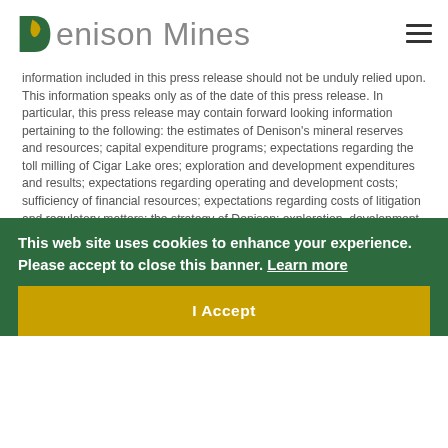Denison Mines
information included in this press release should not be unduly relied upon. This information speaks only as of the date of this press release. In particular, this press release may contain forward looking information pertaining to the following: the estimates of Denison's mineral reserves and resources; capital expenditure programs; expectations regarding the toll milling of Cigar Lake ores; exploration and development expenditures and results; expectations regarding operating and development costs; sufficiency of financial resources; expectations regarding costs of litigation and regulatory matters; the strategy of Denison; exploration, development and expansion plans and objectives; future royalty and tax payments and obligations; Denison's ability to raise capital and adding to its mineral reserves and resources through acquisitions and exploration; and receipt of regulatory approvals, permits and licences under governmental regulatory regimes.
This web site uses cookies to enhance your experience. Please accept to close this banner. Learn more
I Accept